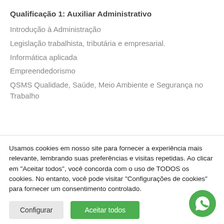Qualificação 1: Auxiliar Administrativo
Introdução à Administração
Legislação trabalhista, tributária e empresarial.
Informática aplicada
Empreendedorismo
QSMS Qualidade, Saúde, Meio Ambiente e Segurança no Trabalho
Usamos cookies em nosso site para fornecer a experiência mais relevante, lembrando suas preferências e visitas repetidas. Ao clicar em "Aceitar todos", você concorda com o uso de TODOS os cookies. No entanto, você pode visitar "Configurações de cookies" para fornecer um consentimento controlado.
Configurar | Aceitar todos